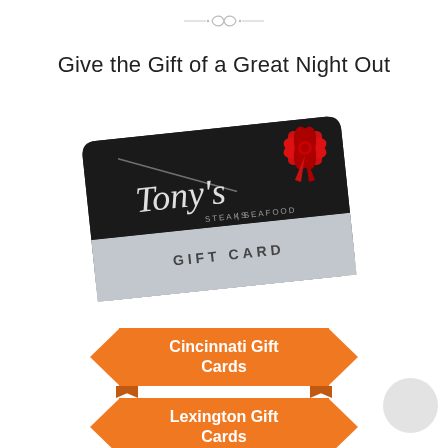[Figure (illustration): Decorative gray ornamental divider/flourish at top of page]
Give the Gift of a Great Night Out
[Figure (photo): Tony's Steaks & Seafood gift card — dark card with script logo and red bow ribbon, silver bottom half reading GIFT CARD, slightly angled]
Cincinnati Gift Cards
Lexington Gift Cards